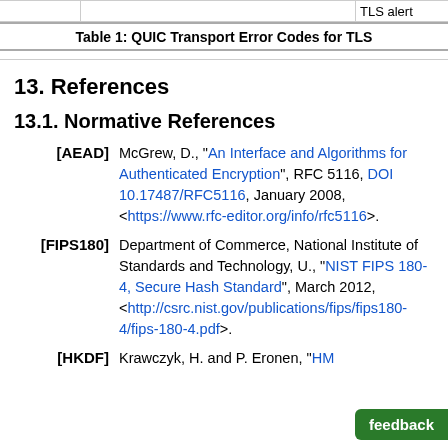Table 1: QUIC Transport Error Codes for TLS
13. References
13.1. Normative References
[AEAD] McGrew, D., "An Interface and Algorithms for Authenticated Encryption", RFC 5116, DOI 10.17487/RFC5116, January 2008, <https://www.rfc-editor.org/info/rfc5116>.
[FIPS180] Department of Commerce, National Institute of Standards and Technology, U., "NIST FIPS 180-4, Secure Hash Standard", March 2012, <http://csrc.nist.gov/publications/fips/fips180-4/fips-180-4.pdf>.
[HKDF] Krawczyk, H. and P. Eronen, "HM..."